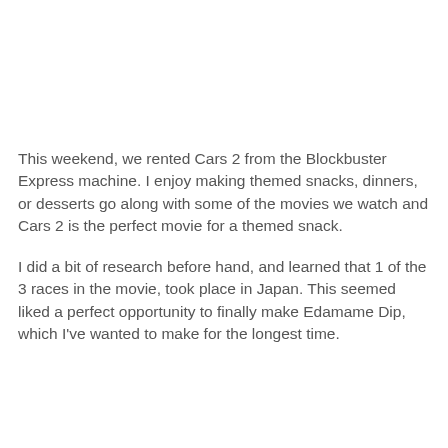This weekend, we rented Cars 2 from the Blockbuster Express machine. I enjoy making themed snacks, dinners, or desserts go along with some of the movies we watch and Cars 2 is the perfect movie for a themed snack.
I did a bit of research before hand, and learned that 1 of the 3 races in the movie, took place in Japan. This seemed liked a perfect opportunity to finally make Edamame Dip, which I've wanted to make for the longest time.